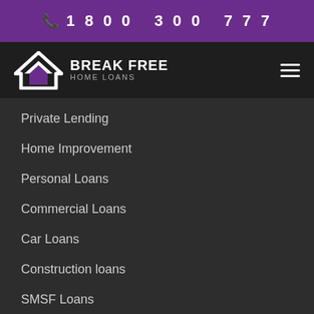1800 300 777
[Figure (logo): Break Free Home Loans logo with a house/chevron icon in white and purple, and text BREAK FREE HOME LOANS]
Private Lending
Home Improvement
Personal Loans
Commercial Loans
Car Loans
Construction loans
SMSF Loans
Refinance Home Loans
Home Renovation Refinance Loan